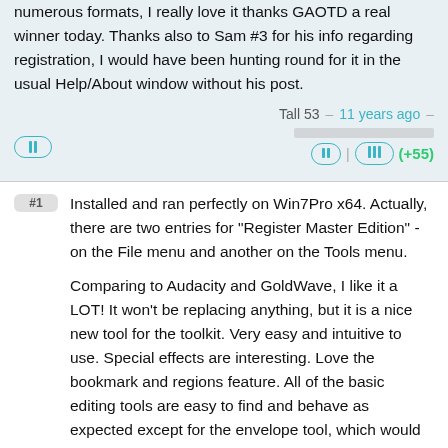numerous formats, I really love it thanks GAOTD a real winner today. Thanks also to Sam #3 for his info regarding registration, I would have been hunting round for it in the usual Help/About window without his post.
Tall 53 – 11 years ago –
#1 Installed and ran perfectly on Win7Pro x64. Actually, there are two entries for "Register Master Edition" - on the File menu and another on the Tools menu.

Comparing to Audacity and GoldWave, I like it a LOT! It won't be replacing anything, but it is a nice new tool for the toolkit. Very easy and intuitive to use. Special effects are interesting. Love the bookmark and regions feature. All of the basic editing tools are easy to find and behave as expected except for the envelope tool, which would be ever so much better if it was not in a popup, rather was indexed with the track(s) like it is on both Audacity and Goldwave. Voice recording and MP3 output is very clear (unlike the Audacity which is awful